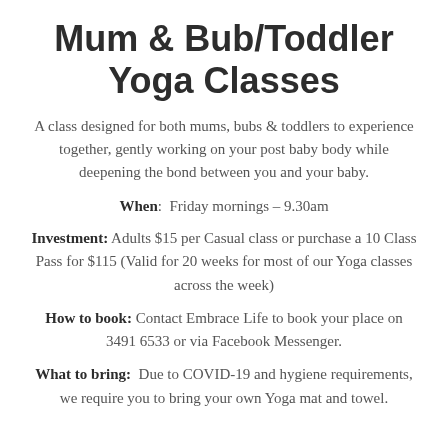Mum & Bub/Toddler Yoga Classes
A class designed for both mums, bubs & toddlers to experience together, gently working on your post baby body while deepening the bond between you and your baby.
When: Friday mornings – 9.30am
Investment: Adults $15 per Casual class or purchase a 10 Class Pass for $115 (Valid for 20 weeks for most of our Yoga classes across the week)
How to book: Contact Embrace Life to book your place on 3491 6533 or via Facebook Messenger.
What to bring: Due to COVID-19 and hygiene requirements, we require you to bring your own Yoga mat and towel.